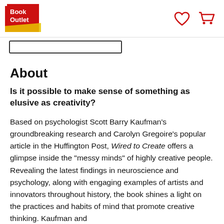Book Outlet
About
Is it possible to make sense of something as elusive as creativity?
Based on psychologist Scott Barry Kaufman's groundbreaking research and Carolyn Gregoire's popular article in the Huffington Post, Wired to Create offers a glimpse inside the "messy minds" of highly creative people. Revealing the latest findings in neuroscience and psychology, along with engaging examples of artists and innovators throughout history, the book shines a light on the practices and habits of mind that promote creative thinking. Kaufman and